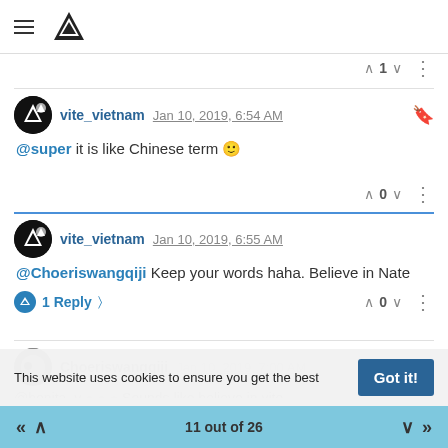Vite forum header with hamburger menu and logo
^ 1 v  ⋮
vite_vietnam  Jan 10, 2019, 6:54 AM
@super it is like Chinese term 😊
^ 0 v  ⋮
vite_vietnam  Jan 10, 2019, 6:55 AM
@Choeriswangqiji Keep your words haha. Believe in Nate
1 Reply >  ^ 0 v  ⋮
Choeriswangqiji Jan 10, 2019, 7:00 AM
@bonita_v [dots] Sounds like believe in vite
This website uses cookies to ensure you get the best
11 out of 26